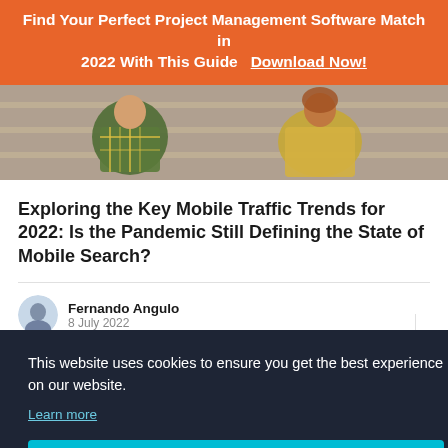Find Your Perfect Project Management Software Match in 2022 With This Guide   Download Now!
[Figure (photo): Photo of two people sitting on outdoor steps, one wearing a plaid shirt and using a phone]
Exploring the Key Mobile Traffic Trends for 2022: Is the Pandemic Still Defining the State of Mobile Search?
Fernando Angulo
8 July 2022
This website uses cookies to ensure you get the best experience on our website.
Learn more
Got it!
Report Hitting Campaign Checkboxes Across...